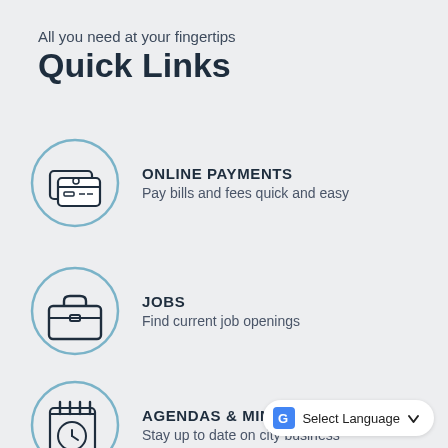All you need at your fingertips
Quick Links
ONLINE PAYMENTS
Pay bills and fees quick and easy
JOBS
Find current job openings
AGENDAS & MINUTES
Stay up to date on city business